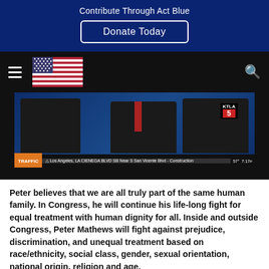Contribute Through Act Blue
Donate Today
[Figure (screenshot): KTLA 5 news broadcast screenshot showing two men in suits at a news desk with traffic ticker at the bottom reading: Los Angeles, LA CIENEGA BLVD SB Near S San Vicente Blvd - Construction. Temperature 57°, time 7:17.]
Peter believes that we are all truly part of the same human family. In Congress, he will continue his life-long fight for equal treatment with human dignity for all. Inside and outside Congress, Peter Mathews will fight against prejudice, discrimination, and unequal treatment based on race/ethnicity, social class, gender, sexual orientation, national origin, religion and age.
In foreign affairs, Peter Mathews says we should move away from policies of unnecessary military